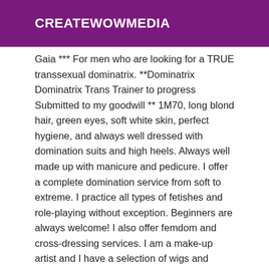CREATEWOWMEDIA
Gaia *** For men who are looking for a TRUE transsexual dominatrix. **Dominatrix Dominatrix Trans Trainer to progress Submitted to my goodwill ** 1M70, long blond hair, green eyes, soft white skin, perfect hygiene, and always well dressed with domination suits and high heels. Always well made up with manicure and pedicure. I offer a complete domination service from soft to extreme. I practice all types of fetishes and role-playing without exception. Beginners are always welcome! I also offer femdom and cross-dressing services. I am a make-up artist and I have a selection of wigs and clothes for you; I offer a complete transformation! I am very discreet, located in a good neighborhood, alone in a very clean and elegant apartment. I answer private calls without exception. Mistress Gaia #Baillon Boule #Boot adornment #Anal Plug #Chastity #Pins and Clips #Leave and Necklace #Cunnilingus #Dildos #Baillon #Belly Belt #Human Dog